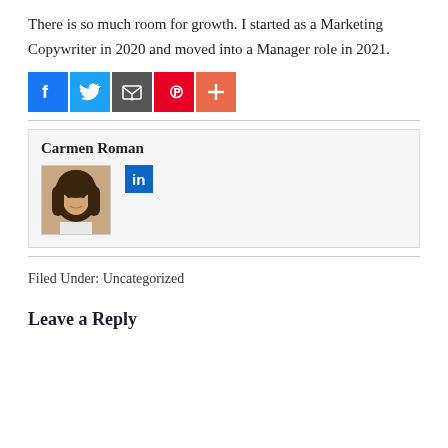There is so much room for growth. I started as a Marketing Copywriter in 2020 and moved into a Manager role in 2021.
[Figure (infographic): Row of social sharing icons: Facebook (blue), Twitter (light blue), Email (dark grey), Pinterest (red), More/Plus (orange-red)]
Carmen Roman
[Figure (photo): Headshot photo of Carmen Roman, a woman with long dark brown hair]
[Figure (logo): LinkedIn icon (blue square with white 'in' text)]
Filed Under: Uncategorized
Leave a Reply